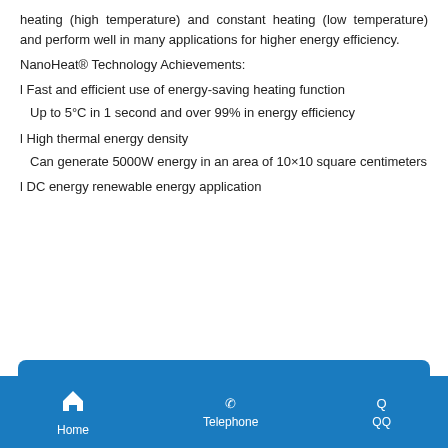heating (high temperature) and constant heating (low temperature) and perform well in many applications for higher energy efficiency.
NanoHeat® Technology Achievements:
l Fast and efficient use of energy-saving heating function
Up to 5°C in 1 second and over 99% in energy efficiency
l High thermal energy density
Can generate 5000W energy in an area of 10×10 square centimeters
l DC energy renewable energy application
18922873228
l No magnetic interference
Home  Telephone  QQ